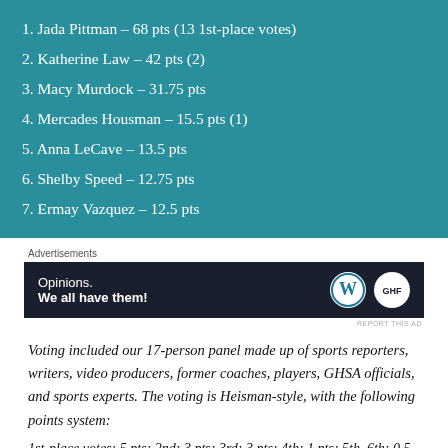1. Jada Pittman – 68 pts (13 1st-place votes)
2. Katherine Law – 42 pts (2)
3. Macy Murdock – 31.75 pts
4. Mercades Housman – 15.5 pts (1)
5. Anna LeCave – 13.5 pts
6. Shelby Speed – 12.75 pts
7. Ermay Vazquez – 12.5 pts
Advertisements
[Figure (other): Advertisements banner: dark background with text 'Opinions. We all have them!' and WordPress and another circular logo on the right.]
Voting included our 17-person panel made up of sports reporters, writers, video producers, former coaches, players, GHSA officials, and sports experts. The voting is Heisman-style, with the following points system:
1st-place votes: 5 pts; 2nd: 3 pts; 3rd: 3 pts; 4th: 1 pts; 5th, 6th: 0.5